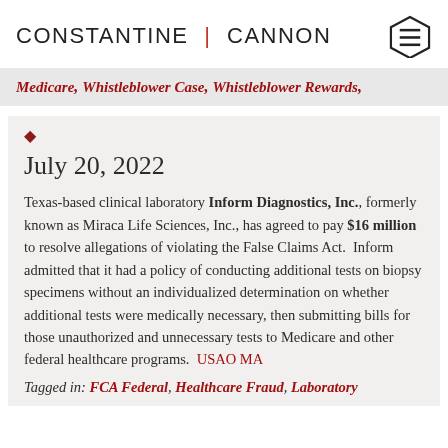CONSTANTINE | CANNON
Medicare, Whistleblower Case, Whistleblower Rewards,
July 20, 2022
Texas-based clinical laboratory Inform Diagnostics, Inc., formerly known as Miraca Life Sciences, Inc., has agreed to pay $16 million to resolve allegations of violating the False Claims Act. Inform admitted that it had a policy of conducting additional tests on biopsy specimens without an individualized determination on whether additional tests were medically necessary, then submitting bills for those unauthorized and unnecessary tests to Medicare and other federal healthcare programs. USAO MA
Tagged in: FCA Federal, Healthcare Fraud, Laboratory